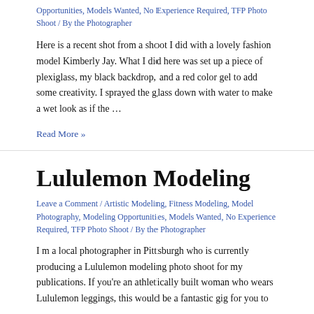Opportunities, Models Wanted, No Experience Required, TFP Photo Shoot / By the Photographer
Here is a recent shot from a shoot I did with a lovely fashion model Kimberly Jay. What I did here was set up a piece of plexiglass, my black backdrop, and a red color gel to add some creativity. I sprayed the glass down with water to make a wet look as if the …
Read More »
Lululemon Modeling
Leave a Comment / Artistic Modeling, Fitness Modeling, Model Photography, Modeling Opportunities, Models Wanted, No Experience Required, TFP Photo Shoot / By the Photographer
I m a local photographer in Pittsburgh who is currently producing a Lululemon modeling photo shoot for my publications. If you're an athletically built woman who wears Lululemon leggings, this would be a fantastic gig for you to